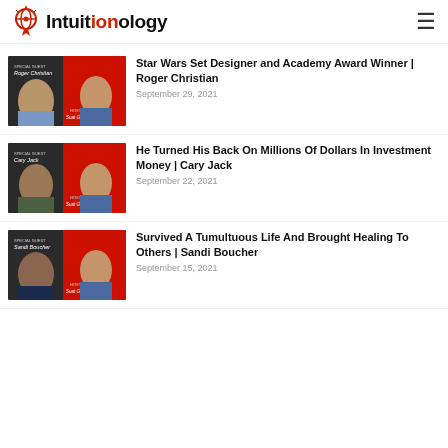Intuitionology
[Figure (photo): Podcast thumbnail for Roger Christian episode - red and black design with host and guest photos]
Star Wars Set Designer and Academy Award Winner | Roger Christian
September 29, 2021
[Figure (photo): Podcast thumbnail for Cary Jack episode - red and black design with host and guest photos]
He Turned His Back On Millions Of Dollars In Investment Money | Cary Jack
September 22, 2021
[Figure (photo): Podcast thumbnail for Sandi Boucher episode - red and black design with host and guest photos]
Survived A Tumultuous Life And Brought Healing To Others | Sandi Boucher
September 15, 2021